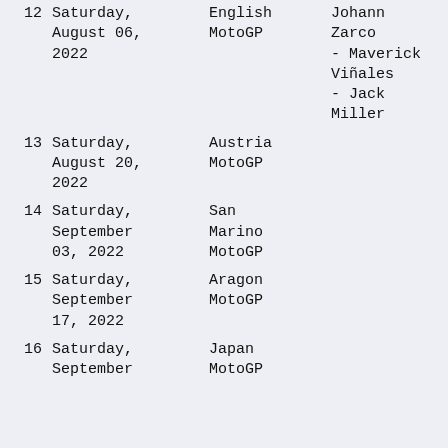| # | Date | Race | Riders |
| --- | --- | --- | --- |
| 12 | Saturday, August 06, 2022 | English MotoGP | Johann Zarco - Maverick Viñales - Jack Miller |
| 13 | Saturday, August 20, 2022 | Austria MotoGP |  |
| 14 | Saturday, September 03, 2022 | San Marino MotoGP |  |
| 15 | Saturday, September 17, 2022 | Aragon MotoGP |  |
| 16 | Saturday, September … | Japan MotoGP |  |